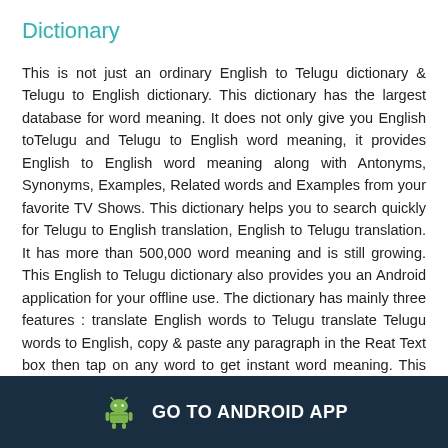Dictionary
This is not just an ordinary English to Telugu dictionary & Telugu to English dictionary. This dictionary has the largest database for word meaning. It does not only give you English toTelugu and Telugu to English word meaning, it provides English to English word meaning along with Antonyms, Synonyms, Examples, Related words and Examples from your favorite TV Shows. This dictionary helps you to search quickly for Telugu to English translation, English to Telugu translation. It has more than 500,000 word meaning and is still growing. This English to Telugu dictionary also provides you an Android application for your offline use. The dictionary has mainly three features : translate English words to Telugu translate Telugu words to English, copy & paste any paragraph in the Reat Text box then tap on any word to get instant word meaning. This website also provides you English Grammar, TOEFL and many more...
GO TO ANDROID APP